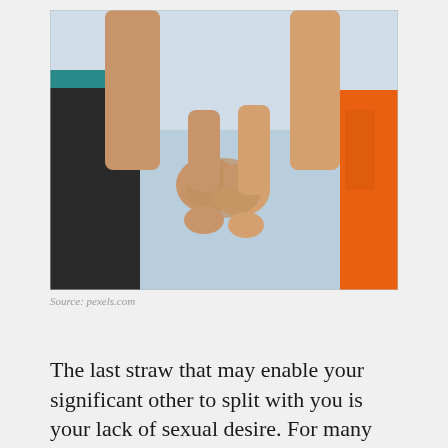[Figure (photo): Two people holding hands outdoors near a beach or waterfront. One person wears black shorts with a teal waistband, the other wears an orange garment. Their clasped hands are centered in the photo against a light blue sky/water background.]
Source: pexels.com
The last straw that may enable your significant other to split with you is your lack of sexual desire. For many years of study that…